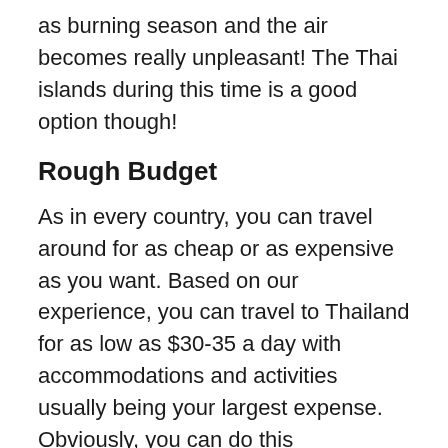as burning season and the air becomes really unpleasant! The Thai islands during this time is a good option though!
Rough Budget
As in every country, you can travel around for as cheap or as expensive as you want. Based on our experience, you can travel to Thailand for as low as $30-35 a day with accommodations and activities usually being your largest expense. Obviously, you can do this